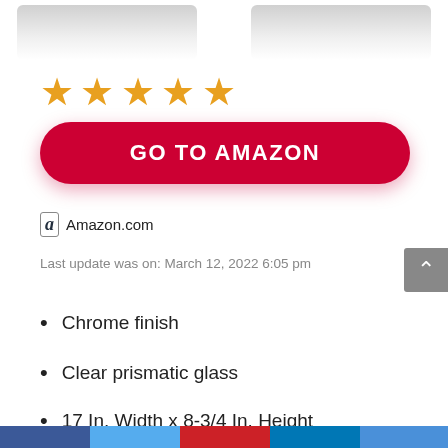[Figure (photo): Two product images (ceiling light fixtures) partially visible at the top of the page]
★★★★★
GO TO AMAZON
a Amazon.com
Last update was on: March 12, 2022 6:05 pm
Chrome finish
Clear prismatic glass
17 In. Width x 8-3/4 In. Height
Social sharing bar